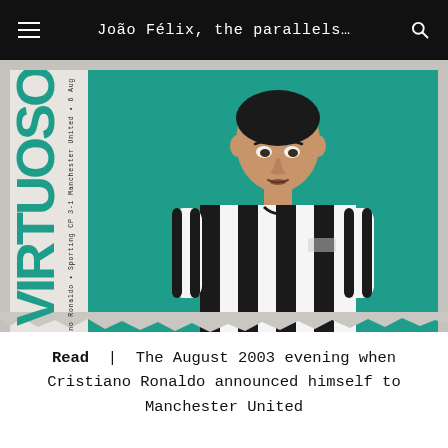João Félix, the parallels…
[Figure (photo): Graphic design image showing a young Cristiano Ronaldo in a Sporting CP black and white striped jersey against a teal/green background. Large vertical text 'VIRTUOSO' in teal on the left side. Small vertical text reads 'Cristiano Ronaldo • Sporting CP 3-1 Manchester United • 6 Aug'. The overall image has a paper/grunge texture.]
Read | The August 2003 evening when Cristiano Ronaldo announced himself to Manchester United